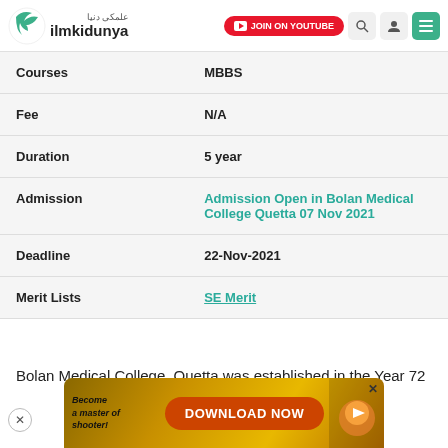[Figure (logo): ilmkidunya logo with green crescent icon and Arabic text]
| Field | Value |
| --- | --- |
| Courses | MBBS |
| Fee | N/A |
| Duration | 5 year |
| Admission | Admission Open in Bolan Medical College Quetta 07 Nov 2021 |
| Deadline | 22-Nov-2021 |
| Merit Lists | SE Merit |
Bolan Medical College, Quetta was established in the Year 72
[Figure (screenshot): Advertisement banner: Become a master of shooter! DOWNLOAD NOW button with golden game-themed imagery]